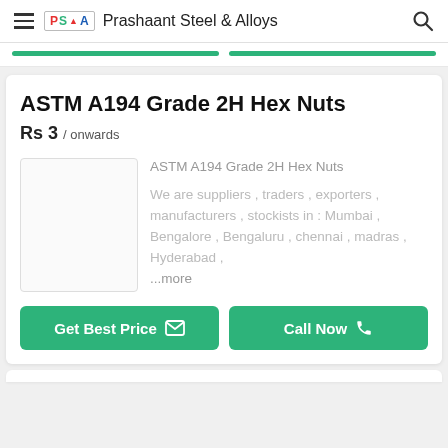Prashaant Steel & Alloys
ASTM A194 Grade 2H Hex Nuts
Rs 3 / onwards
ASTM A194 Grade 2H Hex Nuts
We are suppliers , traders , exporters , manufacturers , stockists in : Mumbai , Bengalore , Bengaluru , chennai , madras , Hyderabad ,
...more
Get Best Price
Call Now